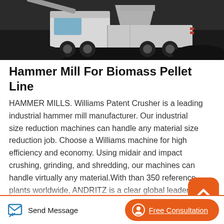[Figure (photo): Industrial truck/machinery operating on a dark coal or mineral stockpile site, photographed from a low angle showing the vehicle cab and tires against a dark rocky background.]
Hammer Mill For Biomass Pellet Line
HAMMER MILLS. Williams Patent Crusher is a leading industrial hammer mill manufacturer. Our industrial size reduction machines can handle any material size reduction job. Choose a Williams machine for high efficiency and economy. Using midair and impact crushing, grinding, and shredding, our machines can handle virtually any material.With than 350 reference plants worldwide, ANDRITZ is a clear global leader in biomass pelleting technology. ANDRITZ pellet mills produce than 50 of all biofuel
Send Message   Free Consultation